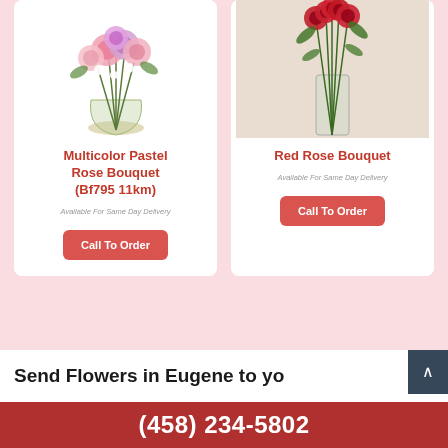[Figure (photo): Multicolor pastel rose bouquet in a glass vase — pink, lavender, and white flowers]
Multicolor Pastel Rose Bouquet (Bf795 11km)
Available For Same Day Delivery
Call To Order
[Figure (photo): Red rose bouquet in a tall clear glass vase against a cream background]
Red Rose Bouquet
Available For Same Day Delivery
Call To Order
Send Flowers in Eugene to yo...
(458) 234-5802